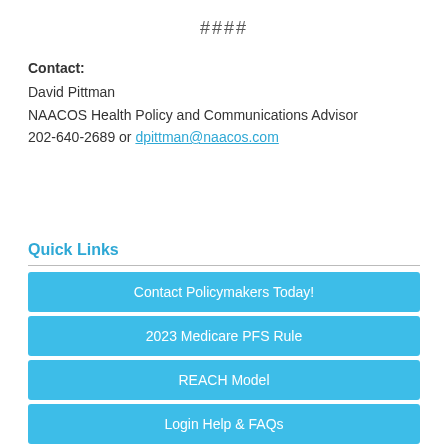####
Contact:
David Pittman
NAACOS Health Policy and Communications Advisor
202-640-2689 or dpittman@naacos.com
Quick Links
Contact Policymakers Today!
2023 Medicare PFS Rule
REACH Model
Login Help & FAQs